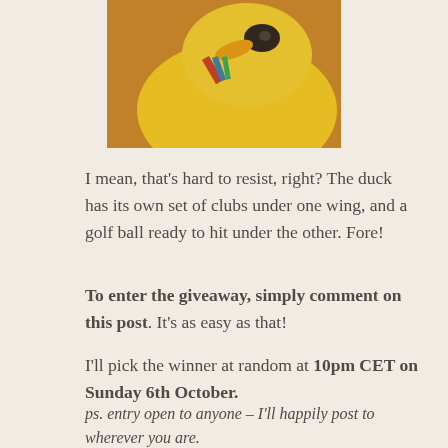[Figure (photo): Close-up photo of a yellow rubber duck golf toy on a wooden surface, with red/multicolor golf clubs under one wing]
I mean, that’s hard to resist, right? The duck has its own set of clubs under one wing, and a golf ball ready to hit under the other. Fore!
To enter the giveaway, simply comment on this post. It’s as easy as that!
I’ll pick the winner at random at 10pm CET on Sunday 6th October.
ps. entry open to anyone – I’ll happily post to wherever you are.